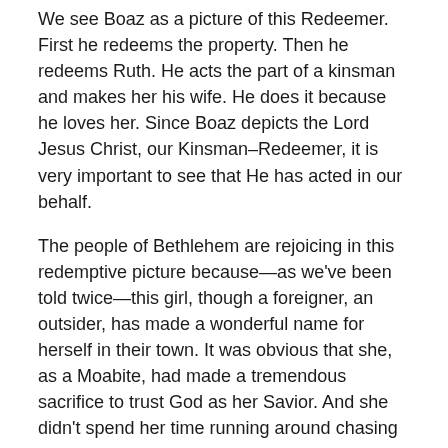We see Boaz as a picture of this Redeemer. First he redeems the property. Then he redeems Ruth. He acts the part of a kinsman and makes her his wife. He does it because he loves her. Since Boaz depicts the Lord Jesus Christ, our Kinsman–Redeemer, it is very important to see that He has acted in our behalf.
The people of Bethlehem are rejoicing in this redemptive picture because—as we've been told twice—this girl, though a foreigner, an outsider, has made a wonderful name for herself in their town. It was obvious that she, as a Moabite, had made a tremendous sacrifice to trust God as her Savior. And she didn't spend her time running around chasing every man in the community, and Boaz noted that.
As a man chooses a woman for his bride, and as Boaz claimed Ruth, so Christ came to this earth for His bride. He is the One who demonstrated His love by dying for us. And we are the responder—we are to respond to His love. We are to receive Him as Savior, then come to know Him.